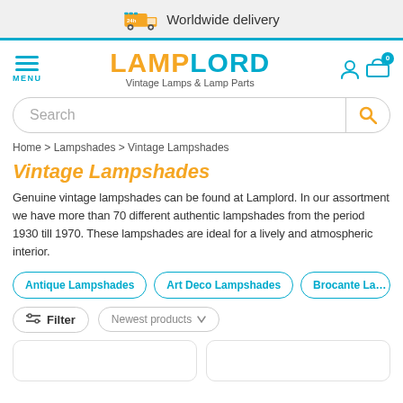Worldwide delivery
[Figure (logo): LampLord logo with text: LAMPLORD - Vintage Lamps & Lamp Parts]
[Figure (other): Search bar with placeholder text 'Search' and orange search icon]
Home > Lampshades > Vintage Lampshades
Vintage Lampshades
Genuine vintage lampshades can be found at Lamplord. In our assortment we have more than 70 different authentic lampshades from the period 1930 till 1970. These lampshades are ideal for a lively and atmospheric interior.
Antique Lampshades
Art Deco Lampshades
Brocante La...
Filter | Newest products